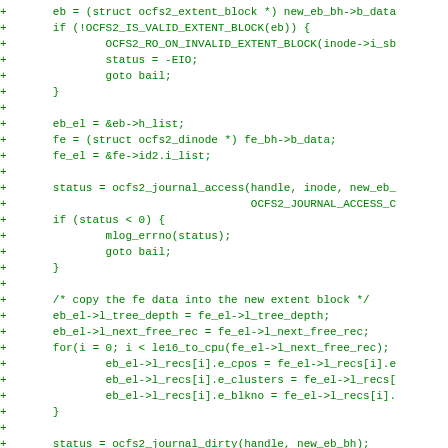[Figure (other): Code diff snippet in green monospace font showing C code for ocfs2 filesystem extent block operations including journal access, data copying, and journal dirty calls.]